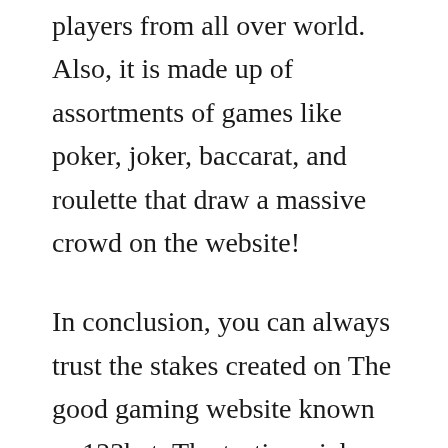players from all over world. Also, it is made up of assortments of games like poker, joker, baccarat, and roulette that draw a massive crowd on the website!
In conclusion, you can always trust the stakes created on The good gaming website known as 123bet. The testimonials published from the people to this particular site's solutions are highly enjoying that it is relatively safe to play and gamble onto the games provided